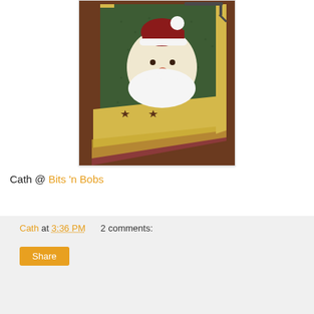[Figure (photo): A quilted wall hanging or table runner featuring a Santa Claus face appliqué on a dark green background with a yellow star-patterned border, hanging on a wooden surface.]
Cath @ Bits 'n Bobs
Cath at 3:36 PM    2 comments:
Share